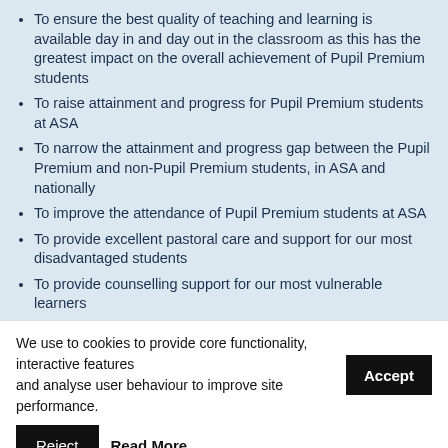To ensure the best quality of teaching and learning is available day in and day out in the classroom as this has the greatest impact on the overall achievement of Pupil Premium students
To raise attainment and progress for Pupil Premium students at ASA
To narrow the attainment and progress gap between the Pupil Premium and non-Pupil Premium students, in ASA and nationally
To improve the attendance of Pupil Premium students at ASA
To provide excellent pastoral care and support for our most disadvantaged students
To provide counselling support for our most vulnerable learners
To fund extra-curricular opportunities to enhance our
We use to cookies to provide core functionality, interactive features and analyse user behaviour to improve site performance.
Accept
Reject
Read More